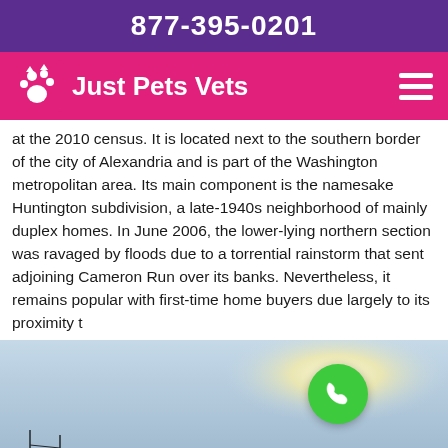877-395-0201
Just Pets Vets
at the 2010 census. It is located next to the southern border of the city of Alexandria and is part of the Washington metropolitan area. Its main component is the namesake Huntington subdivision, a late-1940s neighborhood of mainly duplex homes. In June 2006, the lower-lying northern section was ravaged by floods due to a torrential rainstorm that sent adjoining Cameron Run over its banks. Nevertheless, it remains popular with first-time home buyers due largely to its proximity t
[Figure (photo): Outdoor landscape photo showing a city skyline silhouette against a hazy sky with a bright sun, and a green phone call button overlay in the upper right area of the photo.]